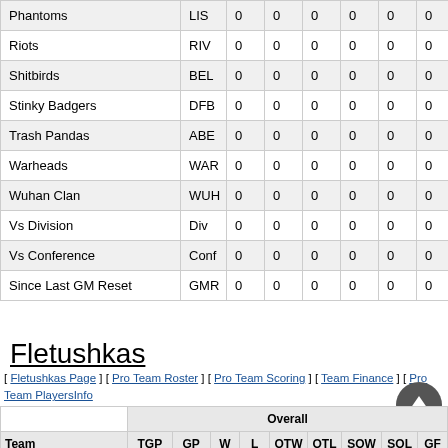| Team | Abbr | col1 | col2 | col3 | col4 | col5 | col6 | col7 | col8 |
| --- | --- | --- | --- | --- | --- | --- | --- | --- | --- |
| Phantoms | LIS | 0 | 0 | 0 | 0 | 0 | 0 | 0 | 0 |
| Riots | RIV | 0 | 0 | 0 | 0 | 0 | 0 | 0 | 0 |
| Shitbirds | BEL | 0 | 0 | 0 | 0 | 0 | 0 | 0 | 0 |
| Stinky Badgers | DFB | 0 | 0 | 0 | 0 | 0 | 0 | 0 | 0 |
| Trash Pandas | ABE | 0 | 0 | 0 | 0 | 0 | 0 | 0 | 0 |
| Warheads | WAR | 0 | 0 | 0 | 0 | 0 | 0 | 0 | 0 |
| Wuhan Clan | WUH | 0 | 0 | 0 | 0 | 0 | 0 | 0 | 0 |
| Vs Division | Div | 0 | 0 | 0 | 0 | 0 | 0 | 0 | 0 |
| Vs Conference | Conf | 0 | 0 | 0 | 0 | 0 | 0 | 0 | 0 |
| Since Last GM Reset | GMR | 0 | 0 | 0 | 0 | 0 | 0 | 0 | 0 |
Fletushkas
[ Fletushkas Page ] [ Pro Team Roster ] [ Pro Team Scoring ] [ Team Finance ] [ Pro Team PlayersInfo ] [ Pro Team Lines ] [ Team Prospects ] [ Pro Team Schedule ] [ Pro Team Stats ] [ Pro Team Stats VS ] [ Team Injury Suspension ] [ Team History ] [ Team Records ] [ Close / Open Team View ]
| Team | TGP | GP | W | L | OTW | OTL | SOW | SOL | GF |
| --- | --- | --- | --- | --- | --- | --- | --- | --- | --- |
| Aardwolves | 0 | 0 | 0 | 0 | 0 | 0 | 0 | 0 | 0 |